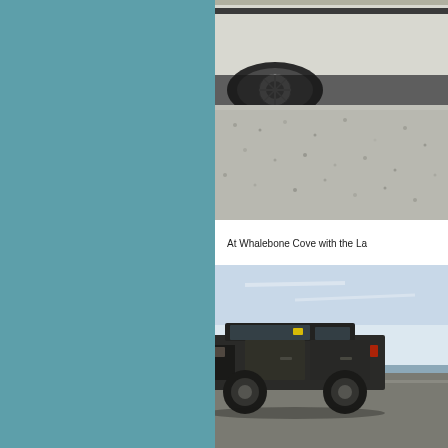[Figure (photo): Partial view of a pickup truck (rear quarter, wheel, and undercarriage visible) parked on a gravel surface. The truck is silver/white with a dark stripe. The right side of the image is cut off.]
At Whalebone Cove with the La
[Figure (photo): A dark-colored 4x4 vehicle (Land Rover or similar) photographed at Whalebone Cove. Light blue sky with thin clouds in the background, water or flat land visible on the horizon. The left side of the image is cut off.]